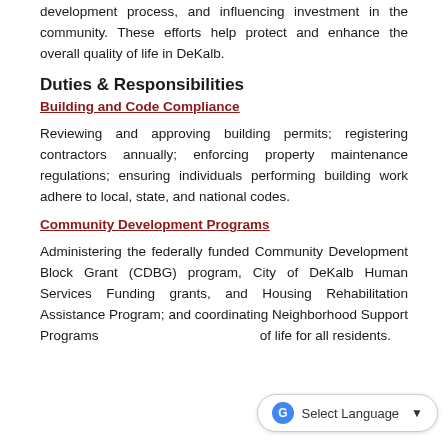development process, and influencing investment in the community. These efforts help protect and enhance the overall quality of life in DeKalb.
Duties & Responsibilities
Building and Code Compliance
Reviewing and approving building permits; registering contractors annually; enforcing property maintenance regulations; ensuring individuals performing building work adhere to local, state, and national codes.
Community Development Programs
Administering the federally funded Community Development Block Grant (CDBG) program, City of DeKalb Human Services Funding grants, and Housing Rehabilitation Assistance Program; and coordinating Neighborhood Support Programs of life for all residents.